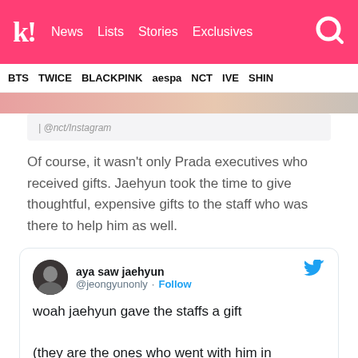k! News  Lists  Stories  Exclusives
BTS  TWICE  BLACKPINK  aespa  NCT  IVE  SHIN
[Figure (photo): Partial photo of NCT Jaehyun]
| @nct/Instagram
Of course, it wasn't only Prada executives who received gifts. Jaehyun took the time to give thoughtful, expensive gifts to the staff who was there to help him as well.
[Figure (screenshot): Tweet from @jeongyunonly (aya saw jaehyun): woah jaehyun gave the staffs a gift

(they are the ones who went with him in]
woah jaehyun gave the staffs a gift

(they are the ones who went with him in